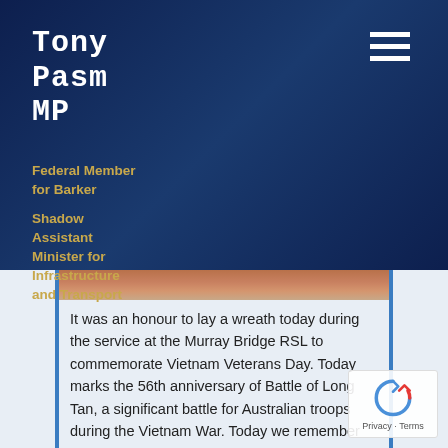Tony Pasm MP
Federal Member for Barker
Shadow Assistant Minister for Infrastructure and Transport
[Figure (screenshot): Partial photo strip of brick/paving surface at the top of the content area]
It was an honour to lay a wreath today during the service at the Murray Bridge RSL to commemorate Vietnam Veterans Day. Today marks the 56th anniversary of Battle of Long Tan, a significant battle for Australian troops during the Vietnam War. Today we remember and pay tribute to all of the brave Australia's who fought in the Vietnam War. Lest We Forget.
1 day ago
31  0  0
[Figure (logo): reCAPTCHA privacy badge with rotating arrows logo and Privacy · Terms text]